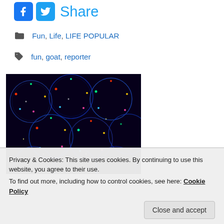[Figure (infographic): Social share bar with Facebook and Twitter icons followed by the text 'Share' in blue]
Fun, Life, LIFE POPULAR
fun, goat, reporter
[Figure (photo): Dark image of glowing LED balloons with colorful lights against a black background]
Privacy & Cookies: This site uses cookies. By continuing to use this website, you agree to their use.
To find out more, including how to control cookies, see here: Cookie Policy
Close and accept